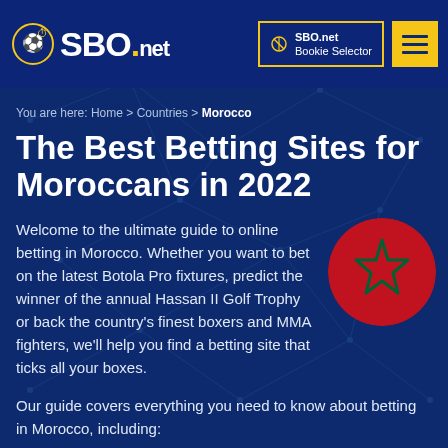SBO.net — Your Ultimate Online Betting Hub in 2022
You are here: Home > Countries > Morocco
The Best Betting Sites for Moroccans in 2022
Welcome to the ultimate guide to online betting in Morocco. Whether you want to bet on the latest Botola Pro fixtures, predict the winner of the annual Hassan II Golf Trophy or back the country's finest boxers and MMA fighters, we'll help you find a betting site that ticks all your boxes.
[Figure (illustration): Moroccan flag circle — red background with green pentagram star in center]
Our guide covers everything you need to know about betting in Morocco, including: